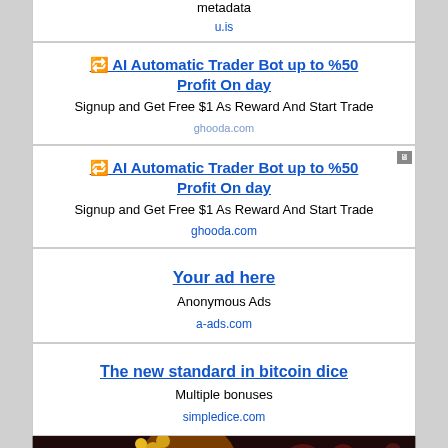metadata
u.is
🔁 AI Automatic Trader Bot up to %50 Profit On day
Signup and Get Free $1 As Reward And Start Trade
ghooda.com
🔁 AI Automatic Trader Bot up to %50 Profit On day
Signup and Get Free $1 As Reward And Start Trade
ghooda.com
Your ad here
Anonymous Ads
a-ads.com
The new standard in bitcoin dice
Multiple bonuses
simpledice.com
[Figure (illustration): Dark background illustration showing a cartoon character with brown hair and yellow accessories, with reddish bokeh/particles in the background.]